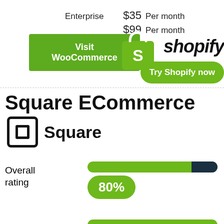Enterprise   $35   Per month
$99   Per month
[Figure (other): Green button labeled 'Visit WooCommerce']
[Figure (logo): Shopify logo with shopping bag icon and 'shopify' text in italic bold]
[Figure (other): Green rounded button labeled 'Try Shopify now']
Square ECommerce
[Figure (logo): Square logo: rounded square icon with inner square, and 'Square' text]
Overall rating
[Figure (bar-chart): Overall rating]
Support Rating
[Figure (bar-chart): Support Rating]